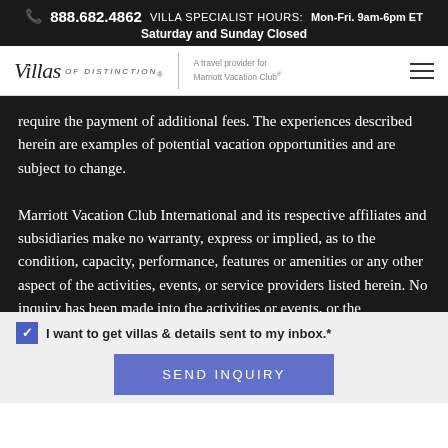📞 888.682.4862  VILLA SPECIALIST HOURS: Mon-Fri. 9am-6pm ET
Saturday and Sunday Closed
[Figure (logo): Villas of Distinction logo with 'A travel provider for Marriott Vacation Club®' tagline and hamburger menu icon]
require the payment of additional fees. The experiences described herein are examples of potential vacation opportunities and are subject to change.

Marriott Vacation Club International and its respective affiliates and subsidiaries make no warranty, express or implied, as to the condition, capacity, performance, features or amenities or any other aspect of the activities, events, or service providers listed herein. No inquiry has been made into the activities or events, or the qualifications or the quality of services offered by the providers. Do not consider this an endorsement of or recommendation for any of the activities, events, or providers
☑ I want to get villas & details sent to my inbox.*
SEND INQUIRY